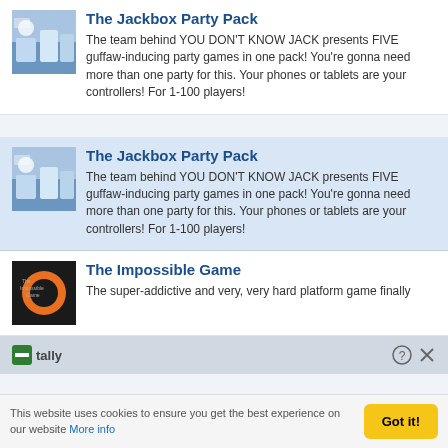[Figure (screenshot): Thumbnail image for The Jackbox Party Pack - colorful party game artwork]
The Jackbox Party Pack
The team behind YOU DON'T KNOW JACK presents FIVE guffaw-inducing party games in one pack! You're gonna need more than one party for this. Your phones or tablets are your controllers! For 1-100 players!
[Figure (screenshot): Thumbnail image for The Jackbox Party Pack - same artwork, highlighted/selected state]
The Jackbox Party Pack
The team behind YOU DON'T KNOW JACK presents FIVE guffaw-inducing party games in one pack! You're gonna need more than one party for this. Your phones or tablets are your controllers! For 1-100 players!
[Figure (screenshot): Thumbnail image for The Impossible Game - black background with orange circle logo]
The Impossible Game
The super-addictive and very, very hard platform game finally
This website uses cookies to ensure you get the best experience on our website More info